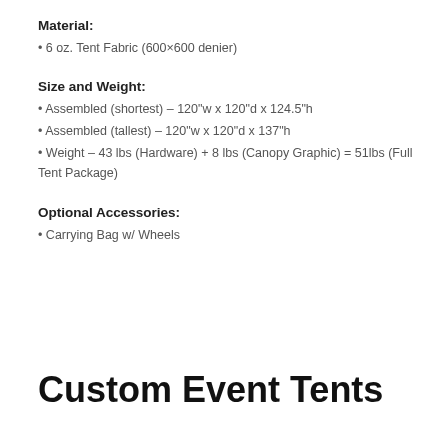Material:
• 6 oz. Tent Fabric (600×600 denier)
Size and Weight:
• Assembled (shortest) – 120"w x 120"d x 124.5"h
• Assembled (tallest) – 120"w x 120"d x 137"h
• Weight – 43 lbs (Hardware) + 8 lbs (Canopy Graphic) = 51lbs (Full Tent Package)
Optional Accessories:
• Carrying Bag w/ Wheels
Custom Event Tents